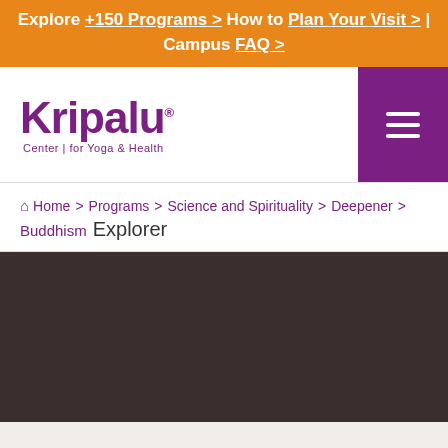Explore +150 Programs > How to Plan Your Visit > | Campus FAQ >
[Figure (logo): Kripalu Center for Yoga & Health logo in purple with hamburger menu button]
Home > Programs > Science and Spirituality > Deepener > Buddhism Explorer